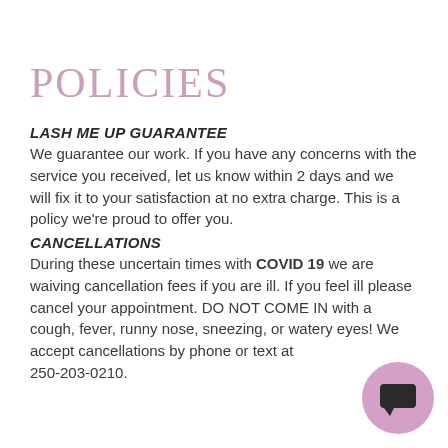POLICIES
LASH ME UP GUARANTEE
We guarantee our work. If you have any concerns with the service you received, let us know within 2 days and we will fix it to your satisfaction at no extra charge. This is a policy we're proud to offer you.
CANCELLATIONS
During these uncertain times with COVID 19 we are waiving cancellation fees if you are ill. If you feel ill please cancel your appointment. DO NOT COME IN with a cough, fever, runny nose, sneezing, or watery eyes! We accept cancellations by phone or text at 250-203-0210.
[Figure (illustration): Pink circular chat bubble icon in the bottom right corner]